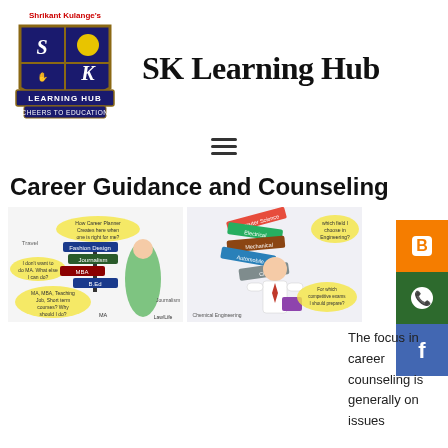[Figure (logo): SK Learning Hub shield logo with 'Shrikant Kulange's' text above, four quadrant shield with S and K letters, 'LEARNING HUB' and 'CHEERS TO EDUCATION' banners]
SK Learning Hub
[Figure (other): Hamburger menu icon (three horizontal lines)]
[Figure (other): Social media sidebar buttons: Blogger (orange), WhatsApp (green), Facebook (blue)]
Career Guidance and Counseling
[Figure (illustration): Two images side by side: left shows a girl with career question bubbles and signpost, right shows a boy in school uniform with engineering/career direction signs]
The focus in career counseling is generally on issues